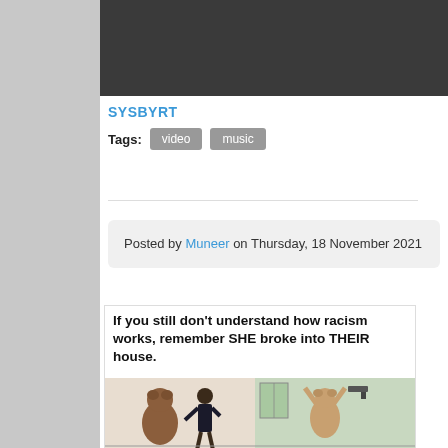SYSBYRT
Tags: video music
Posted by Muneer on Thursday, 18 November 2021
[Figure (photo): Meme image with text: 'If you still don't understand how racism works, remember SHE broke into THEIR house.' Below the text is an illustration showing bears and a person.]